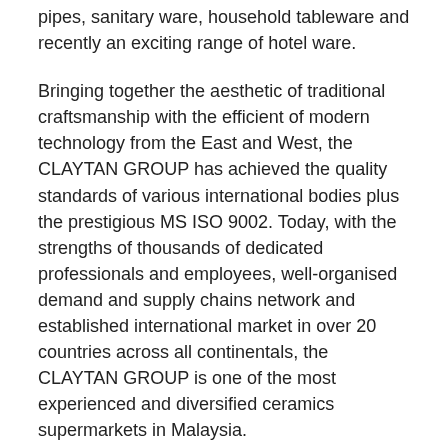pipes, sanitary ware, household tableware and recently an exciting range of hotel ware.
Bringing together the aesthetic of traditional craftsmanship with the efficient of modern technology from the East and West, the CLAYTAN GROUP has achieved the quality standards of various international bodies plus the prestigious MS ISO 9002. Today, with the strengths of thousands of dedicated professionals and employees, well-organised demand and supply chains network and established international market in over 20 countries across all continentals, the CLAYTAN GROUP is one of the most experienced and diversified ceramics supermarkets in Malaysia.
In line with our quest for competitive improvement and internationalization program, we invite following professionals and specialist to join us as: